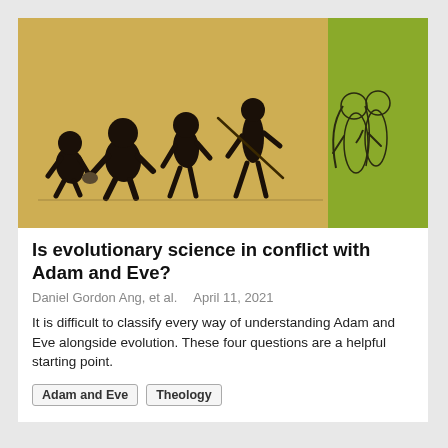[Figure (illustration): Composite illustration showing the classic 'March of Progress' evolution sequence with ape-to-human figures walking left to right on a golden-tan parchment background, followed by a green-tinted classical illustration of Adam and Eve embracing.]
Is evolutionary science in conflict with Adam and Eve?
Daniel Gordon Ang, et al.   April 11, 2021
It is difficult to classify every way of understanding Adam and Eve alongside evolution. These four questions are a helpful starting point.
Adam and Eve
Theology